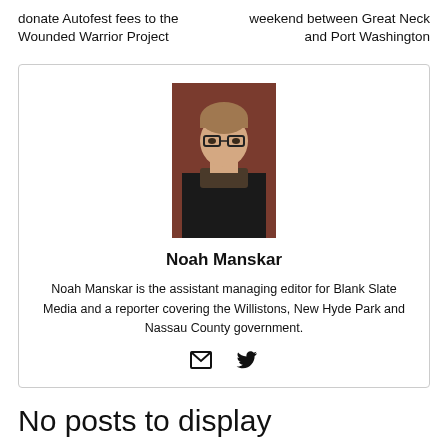donate Autofest fees to the Wounded Warrior Project
weekend between Great Neck and Port Washington
[Figure (photo): Headshot of Noah Manskar, a young person wearing glasses and a scarf in front of a brick building]
Noah Manskar
Noah Manskar is the assistant managing editor for Blank Slate Media and a reporter covering the Willistons, New Hyde Park and Nassau County government.
[Figure (other): Email and Twitter icons]
No posts to display